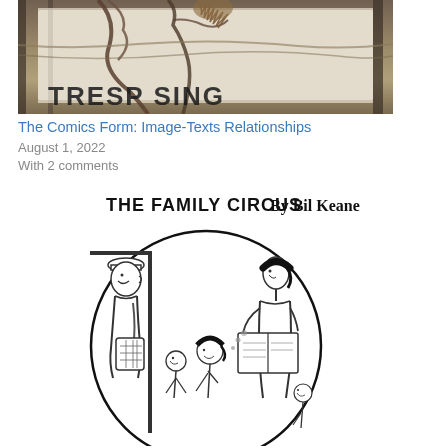[Figure (photo): Partial photo showing a sign with letters partially visible (appears to show 'TRESPASSIN') with twigs/branches overlaid on a black and white striped or fenced background.]
The Comics Form: Image-Texts Relationships
August 1, 2022
With 2 comments
[Figure (illustration): The Family Circus comic strip by Bil Keane. Shows a circular panel with cartoon characters: an adult man with a bag at the door, a woman holding a book, and children between them.]